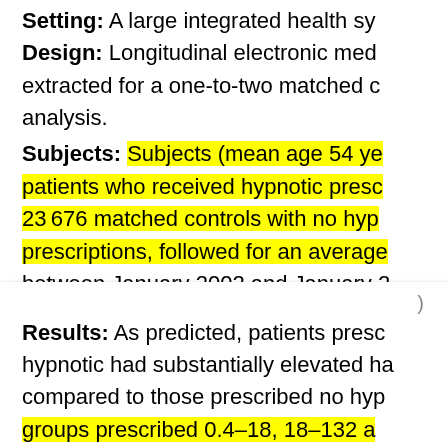Setting: A large integrated health sy...
Design: Longitudinal electronic med... extracted for a one-to-two matched c... analysis.
Subjects: Subjects (mean age 54 ye... patients who received hypnotic presc... 23676 matched controls with no hyp... prescriptions, followed for an averag... between January 2002 and January 2...
Results: As predicted, patients presc... hypnotic had substantially elevated ha... compared to those prescribed no hyp... groups prescribed 0.4–18, 18–132 a... year. HBs (95% CIs) were 3.60 (2.92...